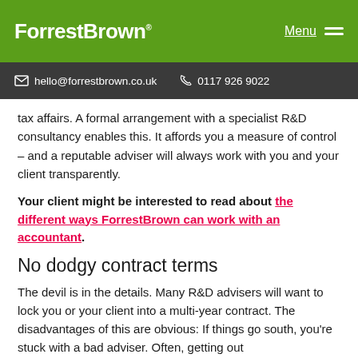ForrestBrown® | Menu
hello@forrestbrown.co.uk  0117 926 9022
tax affairs. A formal arrangement with a specialist R&D consultancy enables this. It affords you a measure of control – and a reputable adviser will always work with you and your client transparently.
Your client might be interested to read about the different ways ForrestBrown can work with an accountant.
No dodgy contract terms
The devil is in the details. Many R&D advisers will want to lock you or your client into a multi-year contract. The disadvantages of this are obvious: If things go south, you're stuck with a bad adviser. Often, getting out